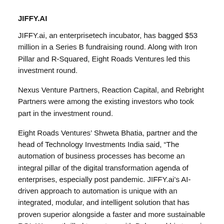JIFFY.AI
JIFFY.ai, an enterprisetech incubator, has bagged $53 million in a Series B fundraising round. Along with Iron Pillar and R-Squared, Eight Roads Ventures led this investment round.
Nexus Venture Partners, Reaction Capital, and Rebright Partners were among the existing investors who took part in the investment round.
Eight Roads Ventures’ Shweta Bhatia, partner and the head of Technology Investments India said, “The automation of business processes has become an integral pillar of the digital transformation agenda of enterprises, especially post pandemic. JIFFY.ai’s AI-driven approach to automation is unique with an integrated, modular, and intelligent solution that has proven superior alongside a faster and more sustainable ROI. We are thrilled to partner with Babu and his team in their mission to help enterprises reap the benefits of automation at scale.”